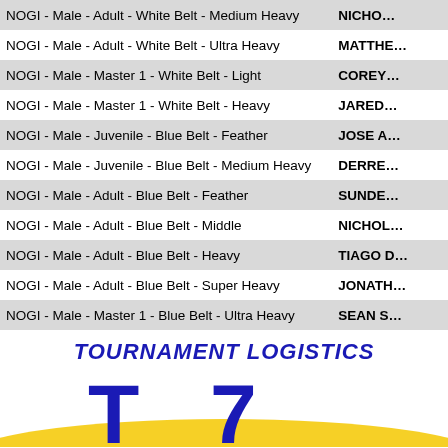| Category | Name |
| --- | --- |
| NOGI - Male - Adult - White Belt - Medium Heavy | NICHO… |
| NOGI - Male - Adult - White Belt - Ultra Heavy | MATTHE… |
| NOGI - Male - Master 1 - White Belt - Light | COREY… |
| NOGI - Male - Master 1 - White Belt - Heavy | JARED… |
| NOGI - Male - Juvenile - Blue Belt - Feather | JOSE A… |
| NOGI - Male - Juvenile - Blue Belt - Medium Heavy | DERRE… |
| NOGI - Male - Adult - Blue Belt - Feather | SUNDE… |
| NOGI - Male - Adult - Blue Belt - Middle | NICHOL… |
| NOGI - Male - Adult - Blue Belt - Heavy | TIAGO D… |
| NOGI - Male - Adult - Blue Belt - Super Heavy | JONATH… |
| NOGI - Male - Master 1 - Blue Belt - Ultra Heavy | SEAN S… |
| NOGI - Male - Adult - Purple Belt - Middle | PAUL TH… |
| NOGI - Male - Adult - Purple Belt - Super Heavy | OBI EM… |
| NOGI - Male - Master 1 - Purple Belt - Medium Heavy | JARBEM… |
TOURNAMENT LOGISTICS
[Figure (logo): Tournament Logistics logo with large blue letters T and a curved arrow/7 shape on white background with yellow arc stripe]